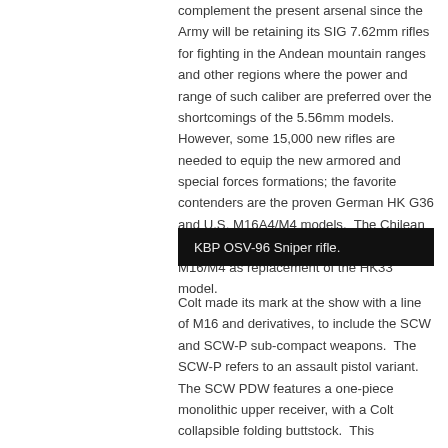complement the present arsenal since the Army will be retaining its SIG 7.62mm rifles for fighting in the Andean mountain ranges and other regions where the power and range of such caliber are preferred over the shortcomings of the 5.56mm models.  However, some 15,000 new rifles are needed to equip the new armored and special forces formations; the favorite contenders are the proven German HK G36 and U.S. M16A4/M4 models.  The Chilean Naval Infantry has already taken the Colt M16/M4 as replacement of the HK33 model.
KBP OSV-96 Sniper rifle.
Colt made its mark at the show with a line of M16 and derivatives, to include the SCW and SCW-P sub-compact weapons.  The SCW-P refers to an assault pistol variant.  The SCW PDW features a one-piece monolithic upper receiver, with a Colt collapsible folding buttstock.  This innovative buttstock provides for an overall extended length of 30.25 inches, reduced to 28 inches when retracted, and 23.5 inches when the stock is folded.  The SCW retains a barrel length of 10.3 inches and presents a lightweight